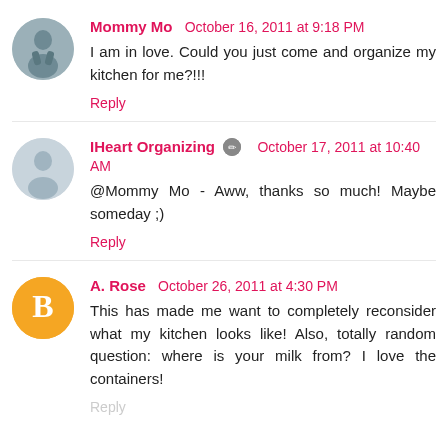Mommy Mo  October 16, 2011 at 9:18 PM
I am in love. Could you just come and organize my kitchen for me?!!!
Reply
IHeart Organizing  October 17, 2011 at 10:40 AM
@Mommy Mo - Aww, thanks so much! Maybe someday ;)
Reply
A. Rose  October 26, 2011 at 4:30 PM
This has made me want to completely reconsider what my kitchen looks like! Also, totally random question: where is your milk from? I love the containers!
Reply